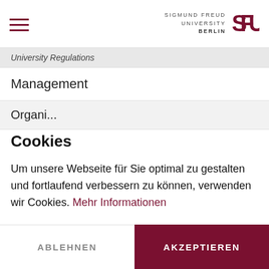SIGMUND FREUD UNIVERSITY BERLIN
University Regulations
Management
Organisation
Cookies
Um unsere Webseite für Sie optimal zu gestalten und fortlaufend verbessern zu können, verwenden wir Cookies. Mehr Informationen
ABLEHNEN
AKZEPTIEREN